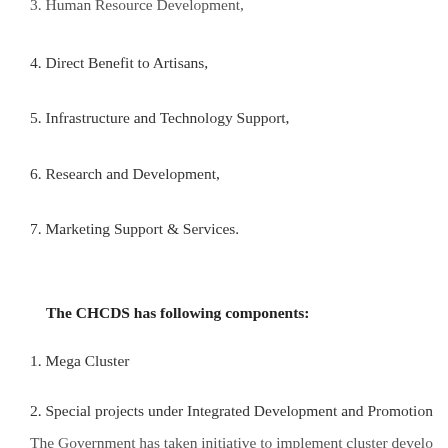3. Human Resource Development,
4. Direct Benefit to Artisans,
5. Infrastructure and Technology Support,
6. Research and Development,
7. Marketing Support & Services.
The CHCDS has following components:
1. Mega Cluster
2. Special projects under Integrated Development and Promotion
The Government has taken initiative to implement cluster develo